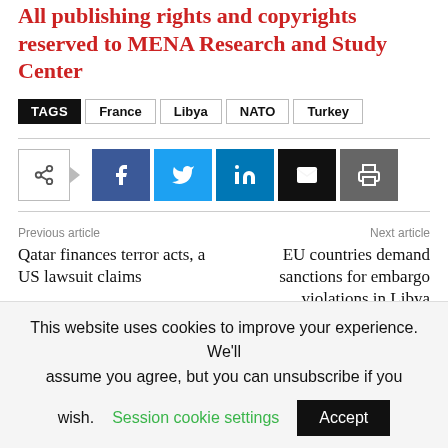All publishing rights and copyrights reserved to MENA Research and Study Center
TAGS   France   Libya   NATO   Turkey
[Figure (infographic): Social share buttons: share toggle, Facebook, Twitter, LinkedIn, Email, Print]
Previous article: Qatar finances terror acts, a US lawsuit claims | Next article: EU countries demand sanctions for embargo violations in Libya
This website uses cookies to improve your experience. We'll assume you agree, but you can unsubscribe if you wish. Session cookie settings  Accept